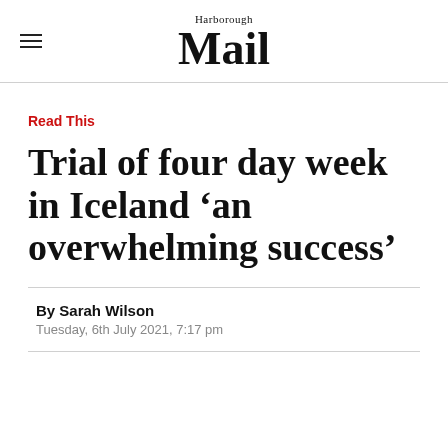Harborough Mail
Read This
Trial of four day week in Iceland ‘an overwhelming success’
By Sarah Wilson
Tuesday, 6th July 2021, 7:17 pm